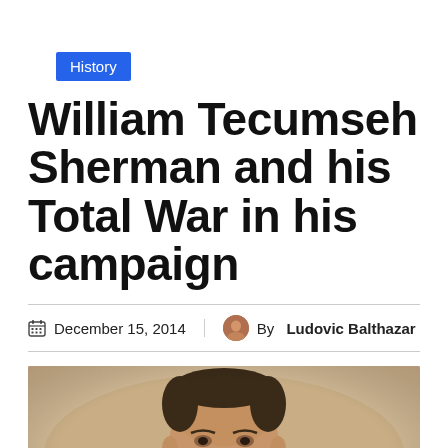History
William Tecumseh Sherman and his Total War in his campaign
December 15, 2014  |  By Ludovic Balthazar
[Figure (photo): Historical black and white portrait photograph of William Tecumseh Sherman, showing a bearded man in 19th century attire with a bow tie]